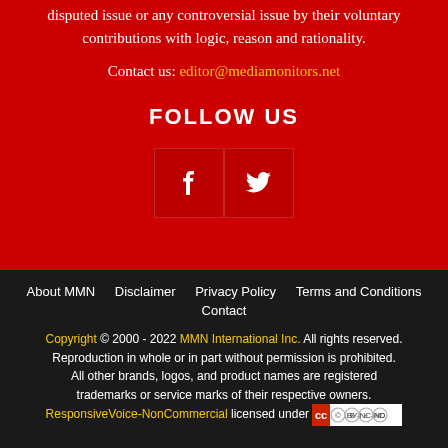disputed issue or any controversial issue by their voluntary contributions with logic, reason and rationality.
Contact us: editor@mediamonitors.net
FOLLOW US
[Figure (illustration): Facebook and Twitter social media icons in dark red square boxes]
About MMN   Disclaimer   Privacy Policy   Terms and Conditions   Contact
Copyright © 2000 - 2022 MMN International Inc. All rights reserved. Reproduction in whole or in part without permission is prohibited. All other brands, logos, and product names are registered trademarks or service marks of their respective owners. ResponsiveVoice-NonCommercial licensed under [CC BY-NC-ND]